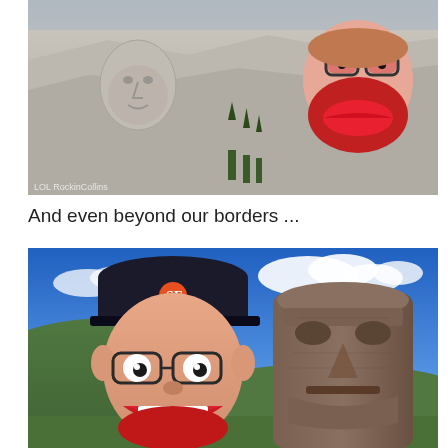[Figure (photo): A photo of Mount Rushmore stone carvings with a cartoon face featuring glasses, red lips, and a beard photoshopped onto the rock face, along with another face visible. Small watermark text at bottom left reads something like 'LOLRockinCollins'.]
And even beyond our borders ...
[Figure (photo): A photo of Easter Island moai statues under a blue sky with clouds and green hills. In the foreground on the left is a cartoon puppet-like face with glasses, a red grinning mouth, and a dark baseball cap labeled 'PENCE' with an SF Giants logo. A large moai stone statue stands prominently on the right.]